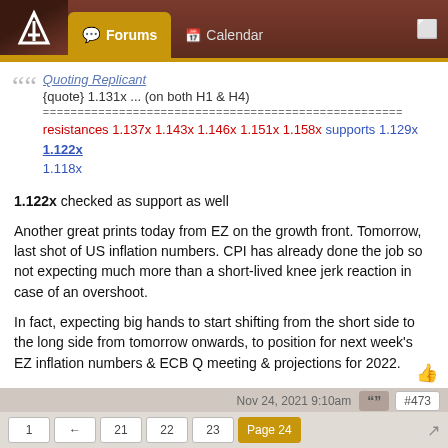Forums | Calendar
Quoting Replicant
{quote} 1.131x ... (on both H1 & H4)
====================================================
resistances 1.137x 1.143x 1.146x 1.151x 1.158x supports 1.129x 1.122x 1.118x
1.122x checked as support as well
Another great prints today from EZ on the growth front. Tomorrow, last shot of US inflation numbers. CPI has already done the job so not expecting much more than a short-lived knee jerk reaction in case of an overshoot.
In fact, expecting big hands to start shifting from the short side to the long side from tomorrow onwards, to position for next week's EZ inflation numbers & ECB Q meeting & projections for 2022.
Nov 24, 2021 9:10am   #473
Replicant
1  ←  21  22  23  Page 24